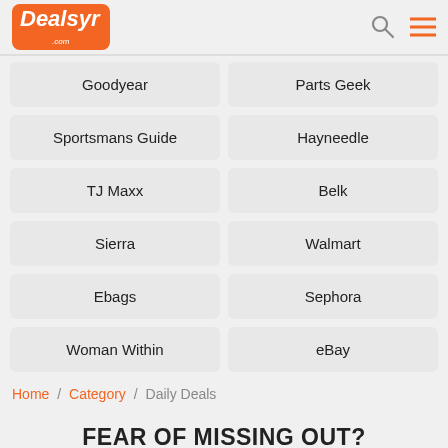[Figure (logo): Dealsyr.com logo in orange rounded rectangle with white italic bold text]
Goodyear
Parts Geek
Sportsmans Guide
Hayneedle
TJ Maxx
Belk
Sierra
Walmart
Ebags
Sephora
Woman Within
eBay
Home / Category / Daily Deals
FEAR OF MISSING OUT?
Receive updates and latest news direct from our team. Simply enter your email below: